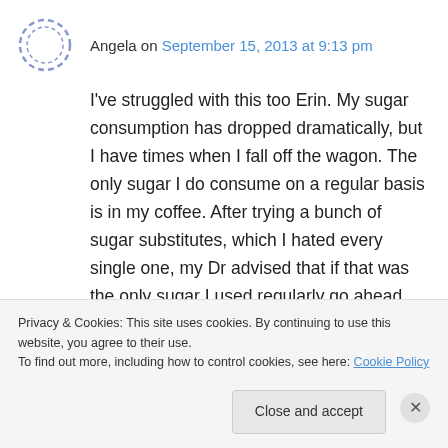Angela on September 15, 2013 at 9:13 pm
I've struggled with this too Erin. My sugar consumption has dropped dramatically, but I have times when I fall off the wagon. The only sugar I do consume on a regular basis is in my coffee. After trying a bunch of sugar substitutes, which I hated every single one, my Dr advised that if that was the only sugar I used regularly go ahead and just use sugar. Its worked pretty well.
Privacy & Cookies: This site uses cookies. By continuing to use this website, you agree to their use.
To find out more, including how to control cookies, see here: Cookie Policy
Close and accept